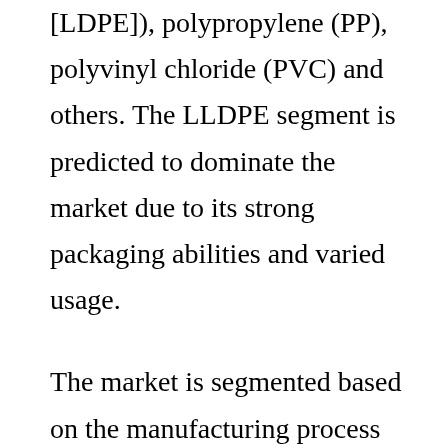[LDPE]), polypropylene (PP), polyvinyl chloride (PVC) and others. The LLDPE segment is predicted to dominate the market due to its strong packaging abilities and varied usage.
The market is segmented based on the manufacturing process into cast stretch film and blown stretch film. On the basis of end use, the market is segregated into constructions, food & beverages, pharmaceuticals, consumer product, paper,